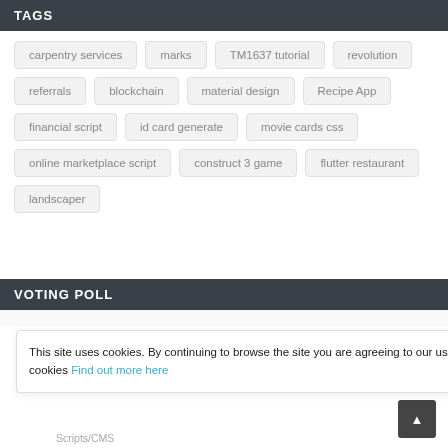TAGS
carpentry services
marks
TM1637 tutorial
revolution
referrals
blockchain
material design
Recipe App
financial script
id card generate
movie cards css
online marketplace script
construct 3 game
flutter restaurant
landscaper
VOTING POLL
This site uses cookies. By continuing to browse the site you are agreeing to our use of cookies Find out more here
Scripts/CMS